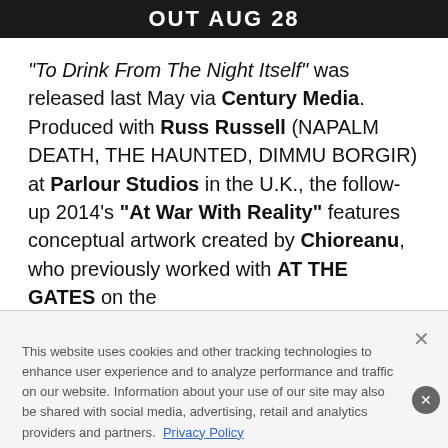[Figure (screenshot): Dark banner with white bold text reading 'OUT AUG 28' and a small logo on the right]
"To Drink From The Night Itself" was released last May via Century Media. Produced with Russ Russell (NAPALM DEATH, THE HAUNTED, DIMMU BORGIR) at Parlour Studios in the U.K., the follow-up 2014's "At War With Reality" features conceptual artwork created by Chioreanu, who previously worked with AT THE GATES on the
This website uses cookies and other tracking technologies to enhance user experience and to analyze performance and traffic on our website. Information about your use of our site may also be shared with social media, advertising, retail and analytics providers and partners. Privacy Policy